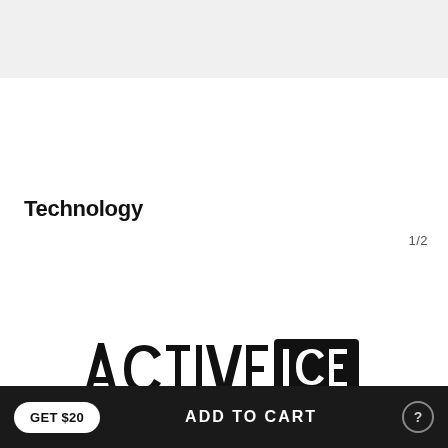Technology
1/2
[Figure (logo): ACTIVE ICE logo in bold black text with a rectangular box around ICE and italic styling on ACTIVE]
GET $20
ADD TO CART
?